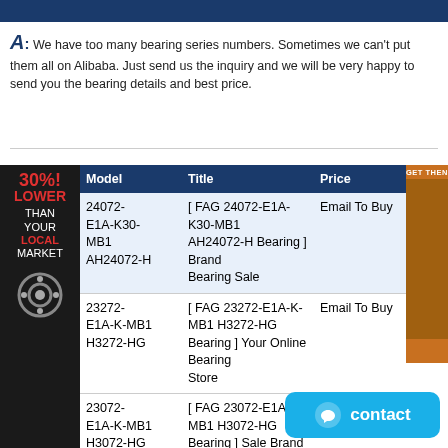A: We have too many bearing series numbers. Sometimes we can't put them all on Alibaba. Just send us the inquiry and we will be very happy to send you the bearing details and best price.
| Model | Title | Price |
| --- | --- | --- |
| 24072-E1A-K30-MB1 AH24072-H | [ FAG 24072-E1A-K30-MB1 AH24072-H Bearing ] Brand Bearing Sale | Email To Buy |
| 23272-E1A-K-MB1 H3272-HG | [ FAG 23272-E1A-K-MB1 H3272-HG Bearing ] Your Online Bearing Store | Email To Buy |
| 23072-E1A-K-MB1 H3072-HG | [ FAG 23072-E1A-K-MB1 H3072-HG Bearing ] Sale Brand Bearing | Email To Buy |
| 24072-E1A-K30-MB1 | [ FAG 24072-E1A-K30-MB1 Bearing ] Bearing Rich Stock | Email To Buy |
| 23072-E1A-MB1 | [ FAG 23072-E1A-MB1 Bearing ] Best Selling Bearing | Email To Buy |